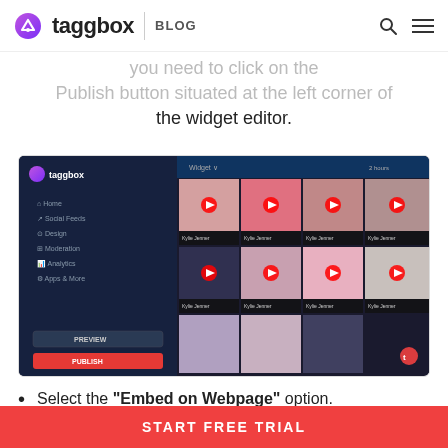Taggbox BLOG
you need to click on the Publish button situated at the left corner of the widget editor.
[Figure (screenshot): Taggbox dashboard showing a YouTube widget with a grid of video thumbnails featuring Kylie Jenner, with a dark left sidebar showing menu items (Home, Social Feeds, Design, Moderation, Analytics, Apps & More) and Preview/Publish buttons at the bottom.]
Select the "Embed on Webpage" option.
[Figure (screenshot): Taggbox dashboard top bar strip showing the interface header.]
START FREE TRIAL